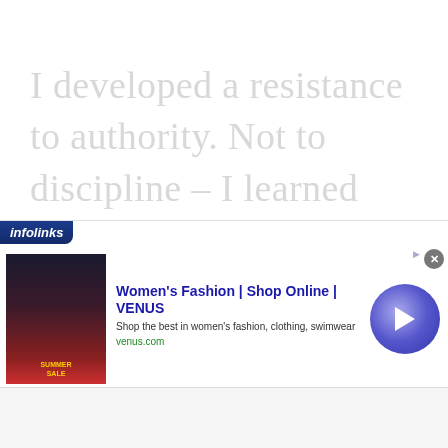I developed a resistance to authority. Not to discipline – I learned that. But to authority. I like to think for myself. And I
[Figure (screenshot): An infolinks advertisement overlay showing a Women's Fashion ad for VENUS with an image thumbnail, ad title, subtitle text 'Shop the best in women's fashion, clothing, swimwear', url 'venus.com', a circular arrow button, and a close button.]